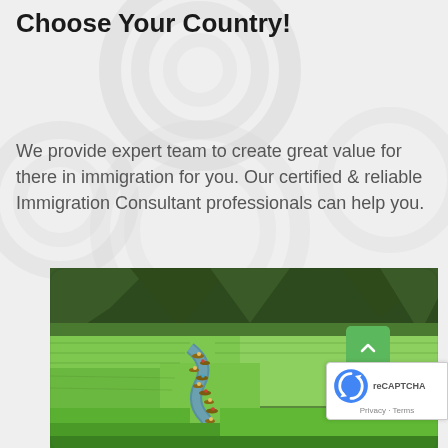Choose Your Country!
We provide expert team to create great value for there in immigration for you. Our certified & reliable Immigration Consultant professionals can help you.
[Figure (photo): Aerial/ground-level photo of a lush green rice paddy landscape in Vietnam (Ninh Binh / Tam Coc area) with a winding river and many small boats carrying tourists through the flooded fields, surrounded by limestone karst mountains and dense tropical forest.]
[Figure (other): Google reCAPTCHA badge with the reCAPTCHA logo and Privacy - Terms links]